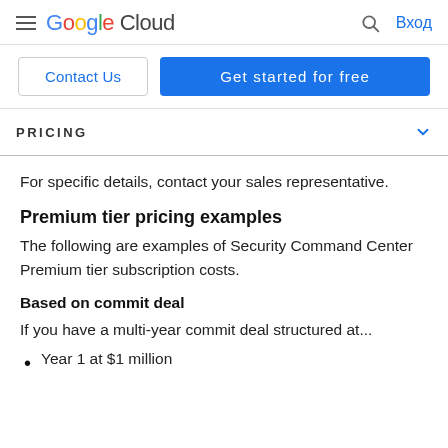Google Cloud — Search — Вход
Contact Us
Get started for free
PRICING
For specific details, contact your sales representative.
Premium tier pricing examples
The following are examples of Security Command Center Premium tier subscription costs.
Based on commit deal
If you have a multi-year commit deal structured at...
Year 1 at $1 million